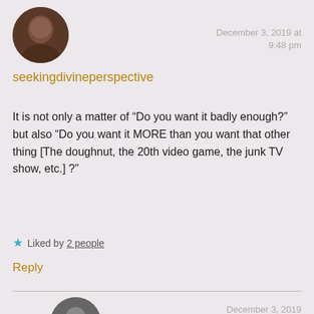[Figure (photo): Circular avatar image of a person, dark reddish-brown tones]
December 3, 2019 at
9:48 pm
seekingdivineperspective
It is not only a matter of “Do you want it badly enough?” but also “Do you want it MORE than you want that other thing [The doughnut, the 20th video game, the junk TV show, etc.] ?”
★ Liked by 2 people
Reply
[Figure (photo): Circular avatar image of a person at the bottom of the page, partially visible]